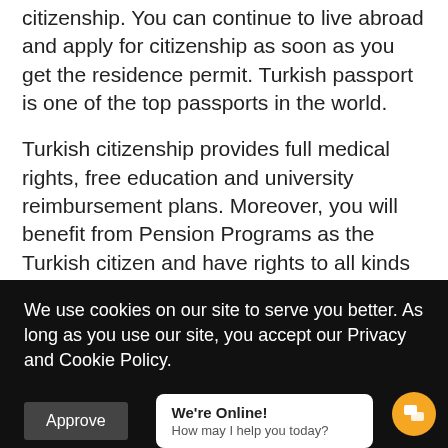citizenship. You can continue to live abroad and apply for citizenship as soon as you get the residence permit. Turkish passport is one of the top passports in the world.
Turkish citizenship provides full medical rights, free education and university reimbursement plans. Moreover, you will benefit from Pension Programs as the Turkish citizen and have rights to all kinds of elections. Your wife/husband and children under 18
We use cookies on our site to serve you better. As long as you use our site, you accept our Privacy and Cookie Policy.
Approve
We're Online! How may I help you today?